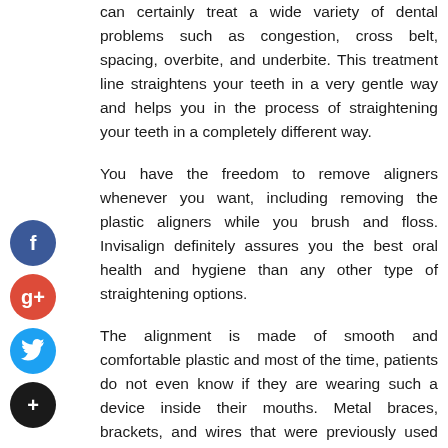can certainly treat a wide variety of dental problems such as congestion, cross belt, spacing, overbite, and underbite. This treatment line straightens your teeth in a very gentle way and helps you in the process of straightening your teeth in a completely different way.
You have the freedom to remove aligners whenever you want, including removing the plastic aligners while you brush and floss. Invisalign definitely assures you the best oral health and hygiene than any other type of straightening options.
The alignment is made of smooth and comfortable plastic and most of the time, patients do not even know if they are wearing such a device inside their mouths. Metal braces, brackets, and wires that were previously used provided total discomfort to users and also gave them great pain, soreness, and